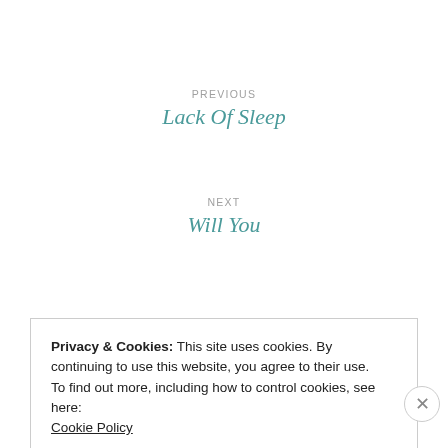PREVIOUS
Lack Of Sleep
NEXT
Will You
Privacy & Cookies: This site uses cookies. By continuing to use this website, you agree to their use.
To find out more, including how to control cookies, see here:
Cookie Policy
Close and accept